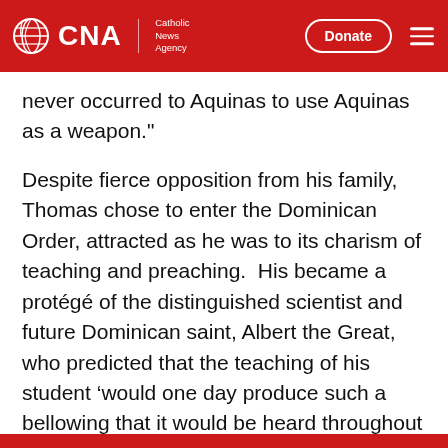CNA | Catholic News Agency
never occurred to Aquinas to use Aquinas as a weapon."
Despite fierce opposition from his family, Thomas chose to enter the Dominican Order, attracted as he was to its charism of teaching and preaching.  His became a protégé of the distinguished scientist and future Dominican saint, Albert the Great, who predicted that the teaching of his student 'would one day produce such a bellowing that it would be heard throughout the world.'